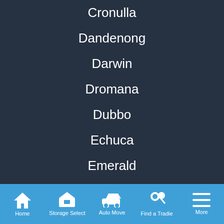Cronulla
Dandenong
Darwin
Dromana
Dubbo
Echuca
Emerald
Forster
Frankston
Fyshwick
Home | Storage Select | Auto Move | Find a Tradie | More